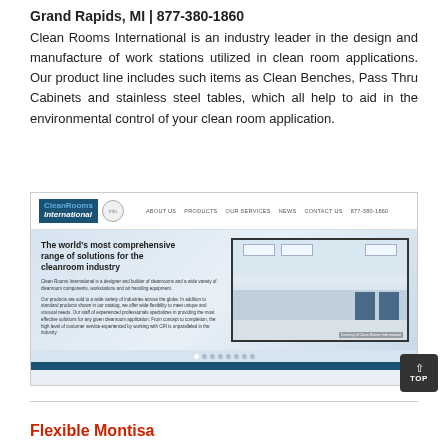Grand Rapids, MI  |  877-380-1860
Clean Rooms International is an industry leader in the design and manufacture of work stations utilized in clean room applications. Our product line includes such items as Clean Benches, Pass Thru Cabinets and stainless steel tables, which all help to aid in the environmental control of your clean room application.
[Figure (screenshot): Screenshot of Clean Rooms International website showing navigation bar with logo, nav links (About Us, Products, Our Services, News, Contact Us, 877-380-1860), hero section with text 'The world's most comprehensive range of solutions for the cleanroom industry' and a cleanroom interior photo. Blue bottom bar and dot navigation indicators visible.]
Flexible Montisa